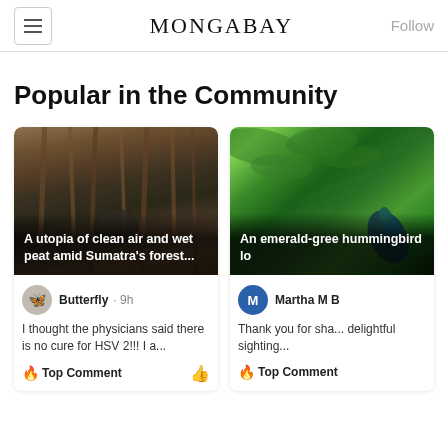MONGABAY
Popular in the Community
[Figure (photo): Man standing in a forest of tall thin trees, article card image for 'A utopia of clean air and wet peat amid Sumatra's forest...']
[Figure (photo): Close-up of green leaves with a hummingbird, article card image for 'An emerald-green hummingbird lo...']
Butterfly · 9h
I thought the physicians said there is no cure for HSV 2!!! I a...
Martha M B
Thank you for sha... delightful sighting...
Top Comment
Top Comment